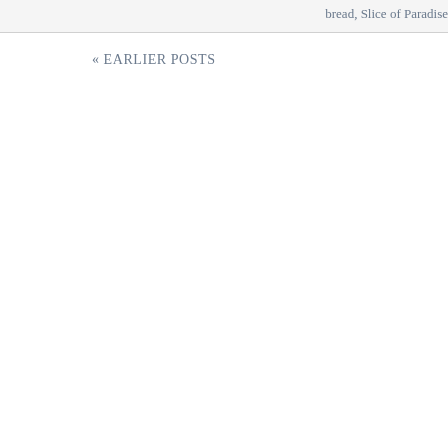bread, Slice of Paradise
« EARLIER POSTS